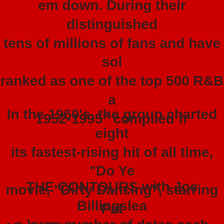em down. During their distinguished tens of millions of fans and have sol ranked as one of the top 500 R&B a 1952-1995" compiled fr
In the 1960's, the group charted eight its fastest-rising hit of all time, "Do Ye movie, "Dirty Dancing", starring Pat Me," which was a featured song in the original perform
THE CONTOURS with Joe Billingslea a large number of dates each year, th and polished choreography. Their sh R&B fan should see, and see often. B last, their show never gets stale no m CONTOURS with Joe Billingsle